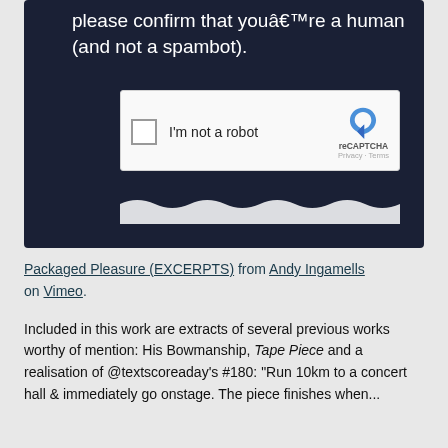[Figure (screenshot): Dark navy panel with text 'please confirm that you're a human (and not a spambot).' and a reCAPTCHA widget with checkbox labeled 'I'm not a robot', reCAPTCHA logo, Privacy and Terms links, and a wavy button shadow below.]
Packaged Pleasure (EXCERPTS) from Andy Ingamells on Vimeo.
Included in this work are extracts of several previous works worthy of mention: His Bowmanship, Tape Piece and a realisation of @textscoreaday's #180: "Run 10km to a concert hall & immediately go onstage. The piece finishes when..."